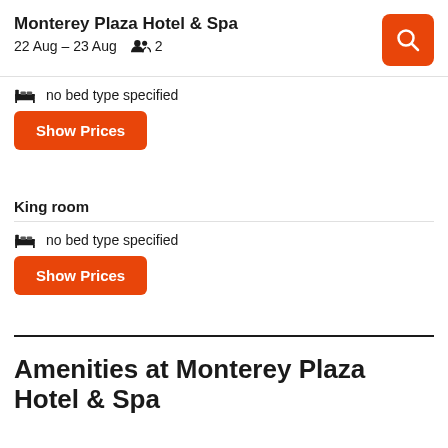Monterey Plaza Hotel & Spa
22 Aug – 23 Aug  👥 2
no bed type specified
Show Prices
King room
no bed type specified
Show Prices
Amenities at Monterey Plaza Hotel & Spa